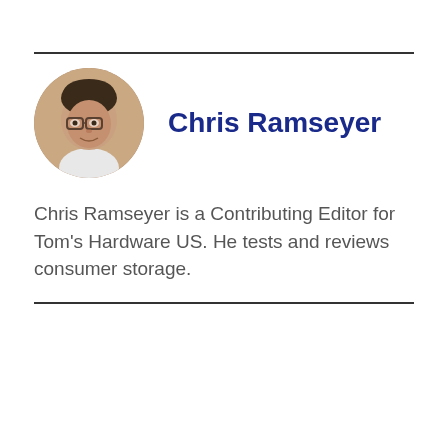[Figure (photo): Circular profile photo of Chris Ramseyer, a man with glasses and short dark hair]
Chris Ramseyer
Chris Ramseyer is a Contributing Editor for Tom's Hardware US. He tests and reviews consumer storage.